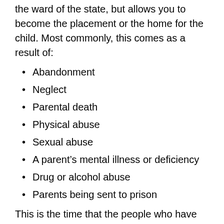the ward of the state, but allows you to become the placement or the home for the child. Most commonly, this comes as a result of:
Abandonment
Neglect
Parental death
Physical abuse
Sexual abuse
A parent's mental illness or deficiency
Drug or alcohol abuse
Parents being sent to prison
This is the time that the people who have been a part of a child's life, whether an aunt, a grandparent or a family friend, can step forward and open up their home to a child in need.